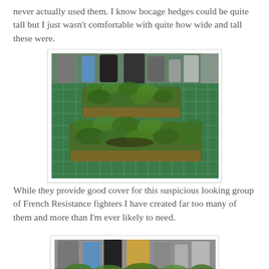never actually used them. I know bocage hedges could be quite tall but I just wasn't comfortable with quite how wide and tall these were.
[Figure (photo): Two model bocage hedge terrain pieces made from foam and model foliage, placed on a green cutting mat, with hobby paint bottles visible in the background.]
While they provide good cover for this suspicious looking group of French Resistance fighters I have created far too many of them and more than I'm ever likely to need.
[Figure (photo): Partial view of another model bocage hedge terrain piece on a cutting mat, with hobby paint bottles and supplies visible in the background.]